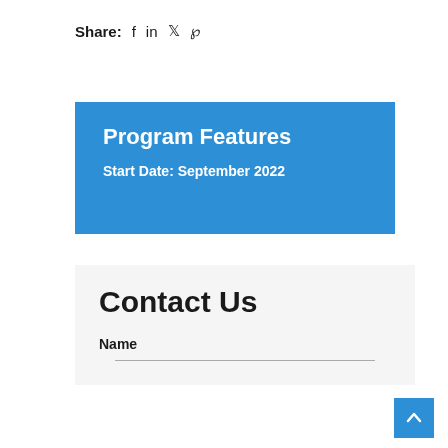Share: f in ♥ ℘
Program Features
Start Date: September 2022
Contact Us
Name